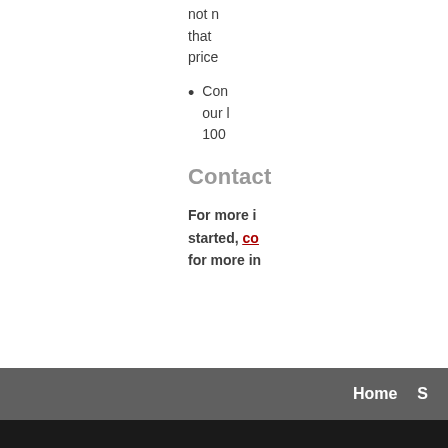not ... that ... price...
Con... our ... 100 ...
Contact
For more i... started, co... for more in...
Home  S...